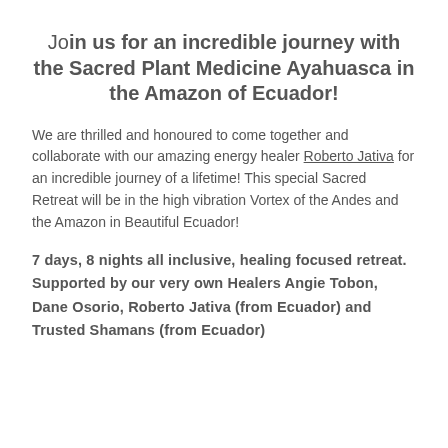Join us for an incredible journey with the Sacred Plant Medicine Ayahuasca in the Amazon of Ecuador!
We are thrilled and honoured to come together and collaborate with our amazing energy healer Roberto Jativa for an incredible journey of a lifetime! This special Sacred Retreat will be in the high vibration Vortex of the Andes and the Amazon in Beautiful Ecuador!
7 days, 8 nights all inclusive, healing focused retreat. Supported by our very own Healers Angie Tobon, Dane Osorio, Roberto Jativa (from Ecuador) and Trusted Shamans (from Ecuador)